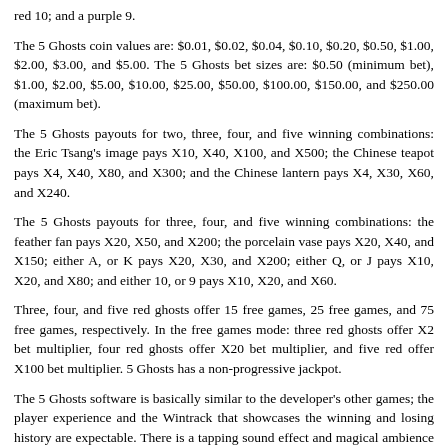red 10; and a purple 9.
The 5 Ghosts coin values are: $0.01, $0.02, $0.04, $0.10, $0.20, $0.50, $1.00, $2.00, $3.00, and $5.00. The 5 Ghosts bet sizes are: $0.50 (minimum bet), $1.00, $2.00, $5.00, $10.00, $25.00, $50.00, $100.00, $150.00, and $250.00 (maximum bet).
The 5 Ghosts payouts for two, three, four, and five winning combinations: the Eric Tsang's image pays X10, X40, X100, and X500; the Chinese teapot pays X4, X40, X80, and X300; and the Chinese lantern pays X4, X30, X60, and X240.
The 5 Ghosts payouts for three, four, and five winning combinations: the feather fan pays X20, X50, and X200; the porcelain vase pays X20, X40, and X150; either A, or K pays X20, X30, and X200; either Q, or J pays X10, X20, and X80; and either 10, or 9 pays X10, X20, and X60.
Three, four, and five red ghosts offer 15 free games, 25 free games, and 75 free games, respectively. In the free games mode: three red ghosts offer X2 bet multiplier, four red ghosts offer X20 bet multiplier, and five red offer X100 bet multiplier. 5 Ghosts has a non-progressive jackpot.
The 5 Ghosts software is basically similar to the developer's other games; the player experience and the Wintrack that showcases the winning and losing history are expectable. There is a tapping sound effect and magical ambience sound. The background contains a nightly Asian neighborhood with lantern-lit pagoda buildings. Appearing in 3D, the animated graphics include bird images, showcasing Chinese-themed representations throughout and